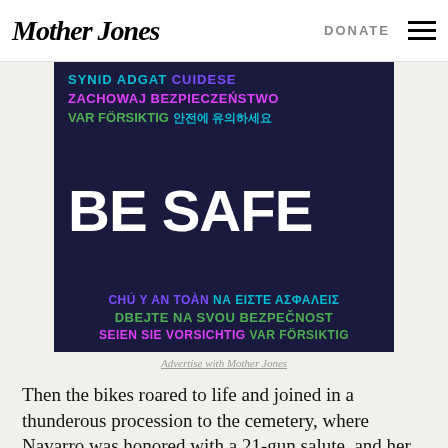Mother Jones | DONATE
[Figure (infographic): Dark navy background infographic with multilingual 'BE SAFE' text in various colors including cyan, magenta, green, white, purple. Languages include Polish (ZACHOWAJ BEZPIECZENSTWO), Swedish (VAR FORSIKTIG), Korean, Vietnamese (CHU Y AN TOAN), Greek (NA EISTE ASFALEIZ), Czech (DBEJTE NA SVOU BEZPECNOST), German (SEIEN SIE VORSICHTIG). Large white centered text reads BE SAFE.]
Advertise with Mother Jones
Then the bikes roared to life and joined in a thunderous procession to the cemetery, where Navarro was honored with a 21-gun salute, and her